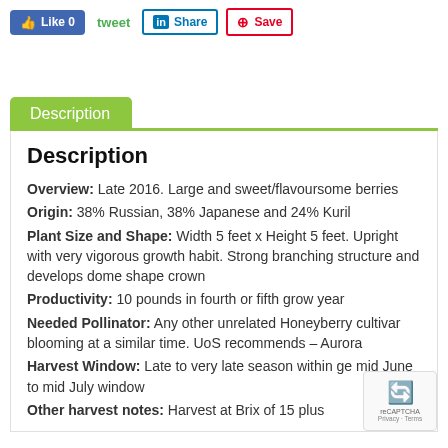[Figure (screenshot): Social sharing buttons: Like 0 (Facebook), tweet (green text), Share (LinkedIn), Save (Pinterest)]
Description
Description
Overview: Late 2016. Large and sweet/flavoursome berries
Origin: 38% Russian, 38% Japanese and 24% Kuril
Plant Size and Shape: Width 5 feet x Height 5 feet. Upright with very vigorous growth habit. Strong branching structure and develops dome shape crown
Productivity: 10 pounds in fourth or fifth grow year
Needed Pollinator: Any other unrelated Honeyberry cultivar blooming at a similar time. UoS recommends – Aurora
Harvest Window: Late to very late season within ge mid June to mid July window
Other harvest notes: Harvest at Brix of 15 plus